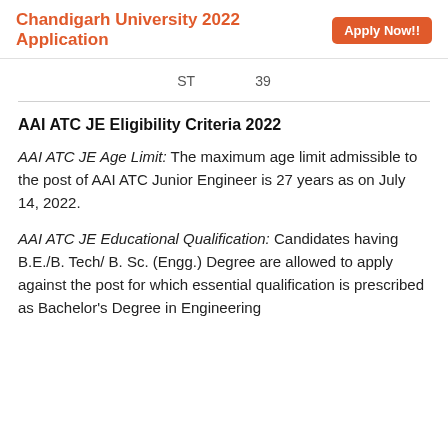Chandigarh University 2022 Application   Apply Now!!
| ST | 39 |
AAI ATC JE Eligibility Criteria 2022
AAI ATC JE Age Limit: The maximum age limit admissible to the post of AAI ATC Junior Engineer is 27 years as on July 14, 2022.
AAI ATC JE Educational Qualification: Candidates having B.E./B. Tech/ B. Sc. (Engg.) Degree are allowed to apply against the post for which essential qualification is prescribed as Bachelor's Degree in Engineering